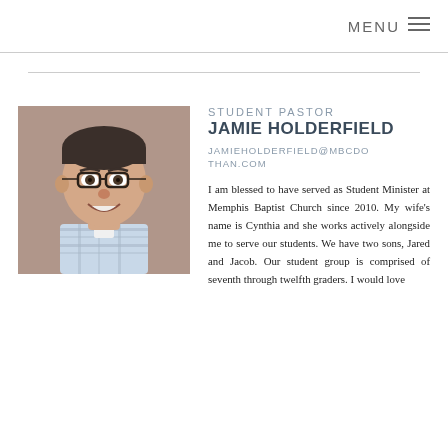MENU ≡
[Figure (photo): Headshot photo of Jamie Holderfield, a man wearing glasses and a plaid shirt, smiling, against a brown/tan background.]
STUDENT PASTOR
JAMIE HOLDERFIELD
JAMIEHOLDERFIELD@MBCDOTHAN.COM
I am blessed to have served as Student Minister at Memphis Baptist Church since 2010. My wife's name is Cynthia and she works actively alongside me to serve our students. We have two sons, Jared and Jacob. Our student group is comprised of seventh through twelfth graders. I would love